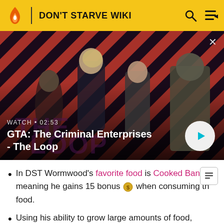DON'T STARVE WIKI
[Figure (screenshot): GTA: The Criminal Enterprises - The Loop video thumbnail showing four characters on a diagonal striped red/dark background. Shows WATCH • 02:53 label and play button.]
GTA: The Criminal Enterprises - The Loop
In DST Wormwood's favorite food is Cooked Banana meaning he gains 15 bonus [coin] when consuming the food.
Using his ability to grow large amounts of food, Wormwood can sleep in a Tent or Siesta Lean-to to